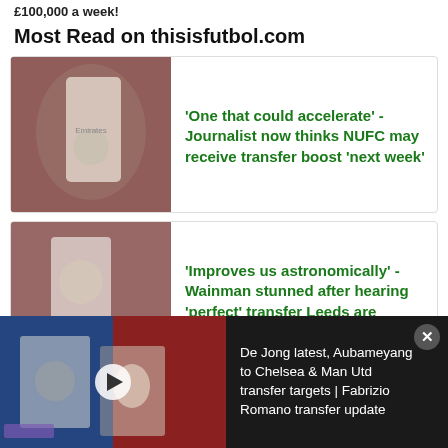£100,000 a week!
Most Read on thisisfutbol.com
'One that could accelerate' - Journalist now thinks NUFC may receive transfer boost 'next week'
'Improves us astronomically' - Wainman stunned after hearing 'perfect' transfer Leeds are eyeing
De Jong latest, Aubameyang to Chelsea & Man Utd transfer targets | Fabrizio Romano transfer update